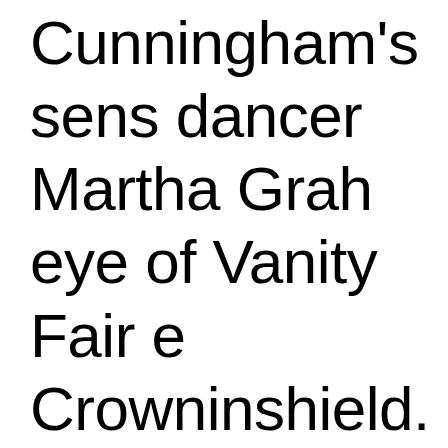Cunningham's sens dancer Martha Grah eye of Vanity Fair e Crowninshield. The published two of the December 1931 iss lucrative assignmen Cunningham in Los portraits of the Holl